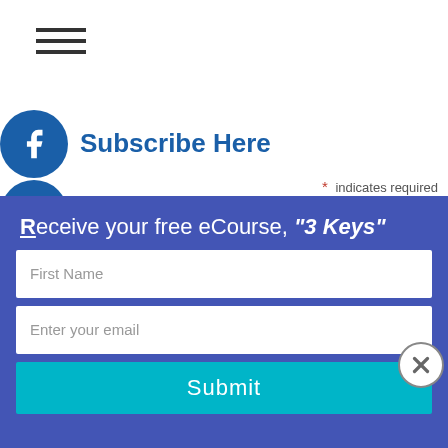≡ (hamburger menu)
Subscribe Here
* indicates required
First Name *
Last Name
Email
[Figure (infographic): Social media icons (Facebook, Instagram, SoundCloud, YouTube, Twitter) stacked vertically on the left side]
Receive your free eCourse, "3 Keys"
First Name (input placeholder)
Enter your email (input placeholder)
Submit